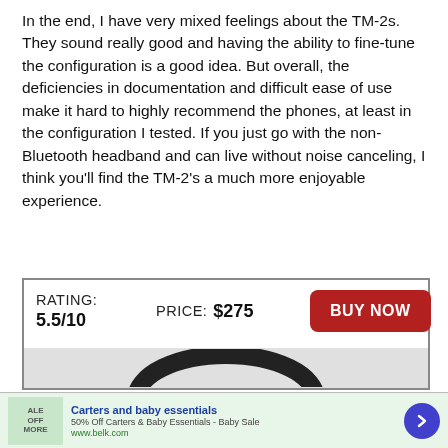In the end, I have very mixed feelings about the TM-2s. They sound really good and having the ability to fine-tune the configuration is a good idea. But overall, the deficiencies in documentation and difficult ease of use make it hard to highly recommend the phones, at least in the configuration I tested. If you just go with the non-Bluetooth headband and can live without noise canceling, I think you’ll find the TM-2’s a much more enjoyable experience.
| RATING | PRICE |  |
| --- | --- | --- |
| 5.5/10 | $275 | BUY NOW |
[Figure (photo): Partial view of black headphones (headband arc visible) below the rating/price box]
[Figure (infographic): Advertisement banner: Carters and baby essentials - 50% Off Carters & Baby Essentials - Baby Sale - www.belk.com]